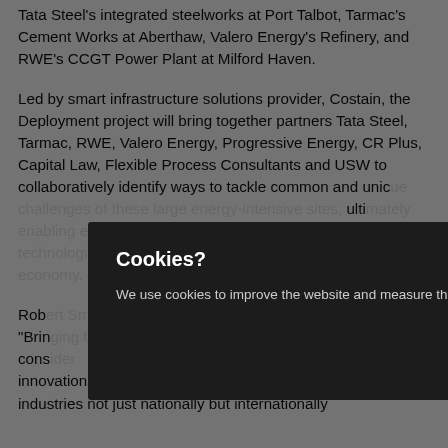Tata Steel's integrated steelworks at Port Talbot, Tarmac's Cement Works at Aberthaw, Valero Energy's Refinery, and RWE's CCGT Power Plant at Milford Haven.
Led by smart infrastructure solutions provider, Costain, the Deployment project will bring together partners Tata Steel, Tarmac, RWE, Valero Energy, Progressive Energy, CR Plus, Capital Law, Flexible Process Consultants and USW to collaboratively identify ways to tackle common and unique challenges of these large energy-intensive sites, ultimately enabling each to define their pathway to net-zero. The technologies will form the foundation of the low-carbon economy.
Rob... "Bringing together these industries and consult... innovations that have the potential to decarbonise these industries not just nationally but internationally
Cookies? We use cookies to improve the website and measure the effectiveness of our adverts. Read our cookies policy. Accept & Close